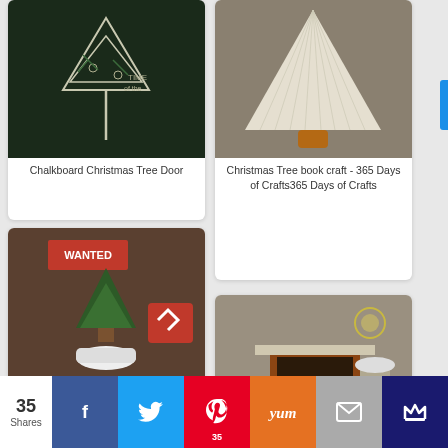[Figure (photo): Chalkboard Christmas Tree Door decoration on a dark blackboard]
Chalkboard Christmas Tree Door
[Figure (photo): Christmas tree made from folded book pages as a lamp shade on rustic wooden background]
Christmas Tree book craft - 365 Days of Crafts365 Days of Crafts
[Figure (photo): Welcome Home for Christmas front porch scene with WANTED sign and Christmas tree]
Welcome Home for Christmas: My front porch | My Life From Home
[Figure (photo): 2015 Christmas Home Tour living room with fireplace, green plaid, metallic and natural decor]
2015 Christmas Home Tour: Green Plaid, Metallic, & Natural
35 Shares
f (Facebook share button)
Twitter share button
Pinterest share button 35
Yum share button
Email share button
More share button